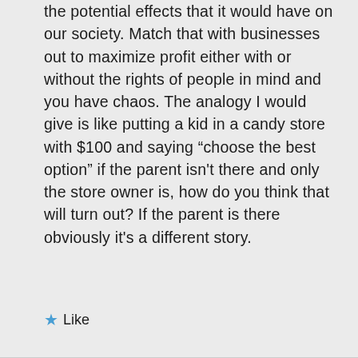the potential effects that it would have on our society. Match that with businesses out to maximize profit either with or without the rights of people in mind and you have chaos. The analogy I would give is like putting a kid in a candy store with $100 and saying “choose the best option” if the parent isn't there and only the store owner is, how do you think that will turn out? If the parent is there obviously it's a different story.
★ Like